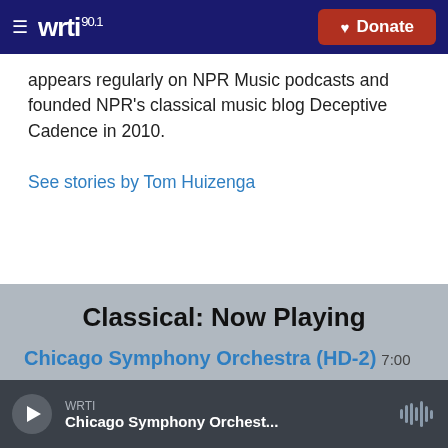WRTI 90.1 | Donate
appears regularly on NPR Music podcasts and founded NPR's classical music blog Deceptive Cadence in 2010.
See stories by Tom Huizenga
Classical: Now Playing
Chicago Symphony Orchestra (HD-2) 7:00 PM–9:00 PM
Up Next: Grand Teton Festival (HD-2)
WRTI | Chicago Symphony Orchest...